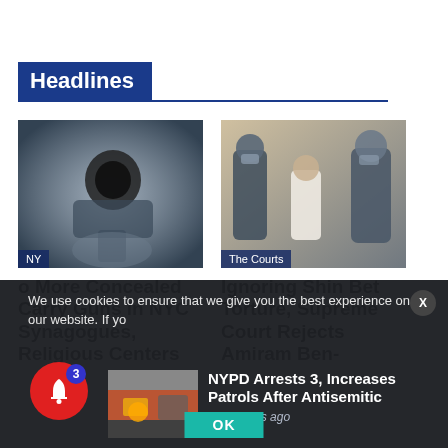Headlines
[Figure (photo): Close-up of a handgun pointed at viewer, black and white/blue tint, with 'NY' tag overlay]
o More Concealed Carry Guns in NYC Synagogues, Religious Centers
[Figure (photo): Courtroom scene with police officers and a hooded suspect, 'The Courts' tag overlay]
Ignoring Shin Bet Torture, Supreme Court Rejects Amiram Ben-
We use cookies to ensure that we give you the best experience on our website. If yo
[Figure (photo): Street scene thumbnail for NYPD news article]
NYPD Arrests 3, Increases Patrols After Antisemitic
58 minutes ago